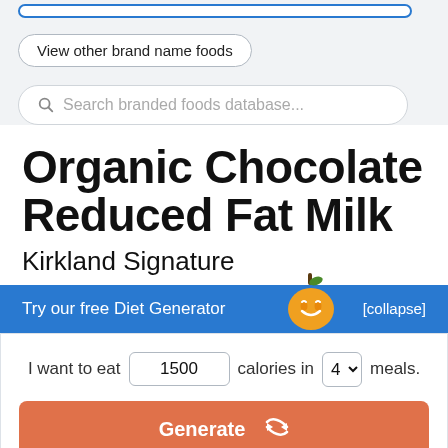[Figure (screenshot): Partial top blue rounded rectangle input field (truncated at top)]
View other brand name foods
Search branded foods database...
Organic Chocolate Reduced Fat Milk
Kirkland Signature
Try our free Diet Generator
[collapse]
I want to eat 1500 calories in 4 meals.
Generate